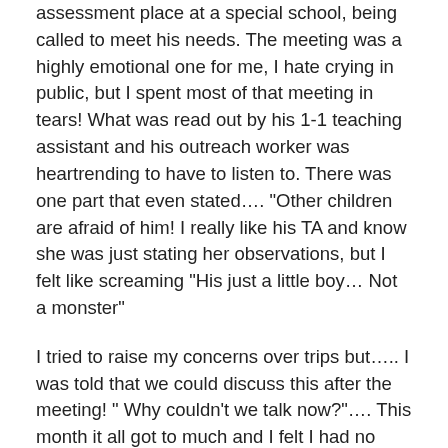assessment place at a special school, being called to meet his needs. The meeting was a highly emotional one for me, I hate crying in public, but I spent most of that meeting in tears! What was read out by his 1-1 teaching assistant and his outreach worker was heartrending to have to listen to. There was one part that even stated…. "Other children are afraid of him! I really like his TA and know she was just stating her observations, but I felt like screaming "His just a little boy… Not a monster"
I tried to raise my concerns over trips but….. I was told that we could discuss this after the meeting! " Why couldn't we talk now?"…. This month it all got to much and I felt I had no choice but to lodge a discrimination claim with the tribunal. I did however offer plenty of opportunities for the school to simply apologise and change things so we can fix this sorry mess and concentrate on my Little